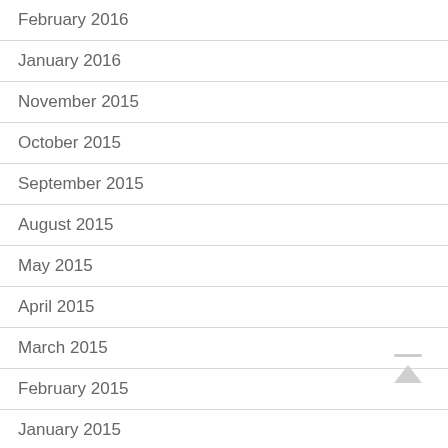February 2016
January 2016
November 2015
October 2015
September 2015
August 2015
May 2015
April 2015
March 2015
February 2015
January 2015
December 2014
November 2014